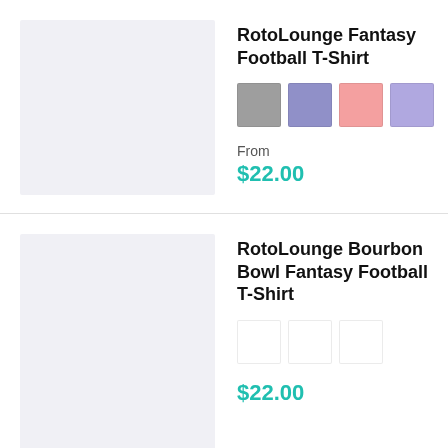[Figure (photo): Product image placeholder – light gray/lavender rectangle for RotoLounge Fantasy Football T-Shirt]
RotoLounge Fantasy Football T-Shirt
[Figure (illustration): Color swatches: gray, muted purple, pink, lavender]
From
$22.00
[Figure (photo): Product image placeholder – light gray/lavender rectangle for RotoLounge Bourbon Bowl Fantasy Football T-Shirt]
RotoLounge Bourbon Bowl Fantasy Football T-Shirt
[Figure (illustration): Color swatches: three white/off-white squares]
$22.00
[Figure (photo): Partial product image placeholder at bottom of page]